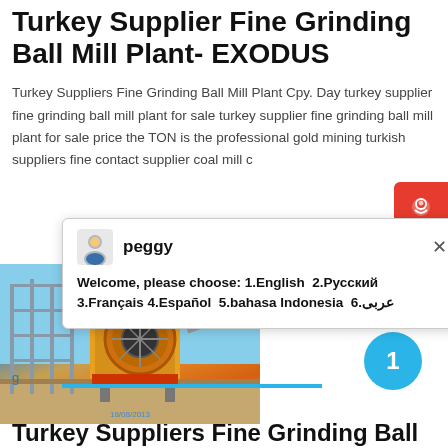Turkey Supplier Fine Grinding Ball Mill Plant- EXODUS
Turkey Suppliers Fine Grinding Ball Mill Plant Cpy. Day turkey supplier fine grinding ball mill plant for sale turkey supplier fine grinding ball mill plant for sale price the TON is the professional gold mining turkish suppliers fine contact supplier coal mill c
[Figure (photo): Photo of a large industrial grinding ball mill plant under construction with scaffolding, yellow machinery, and blue sky background. Timestamp reads 18/08/2013.]
Turkey Suppliers Fine Grinding Ball